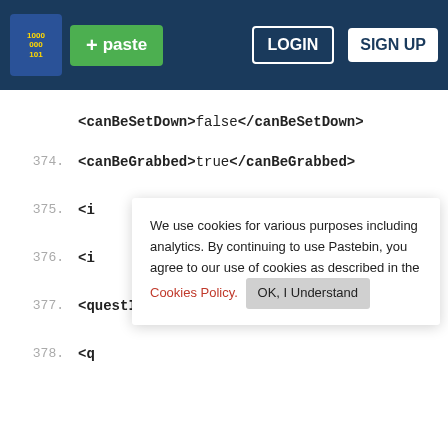[Figure (screenshot): Pastebin website header with logo, green paste button, LOGIN and SIGN UP buttons on dark blue background]
<canBeSetDown>false</canBeSetDown>
374.
<canBeGrabbed>true</canBeGrabbed>
375.
<i
376.
<i
377.
<questItem>false</questItem>
378.
<q
<ison>false</ison>
[Figure (screenshot): Cookie consent banner: 'We use cookies for various purposes including analytics. By continuing to use Pastebin, you agree to our use of cookies as described in the Cookies Policy. OK, I Understand']
[Figure (screenshot): Hello popup: speech bubble with HELLO text, 'Not a member of Pastebin yet? Sign Up, it unlocks many cool features!']
[Figure (screenshot): Petco advertisement: 'Get Your Pet Ready Fo' with Petco logo and name]